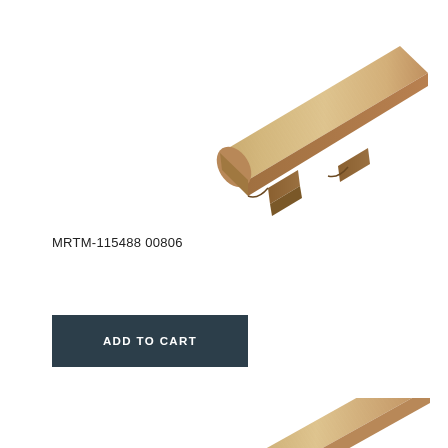[Figure (photo): A wood T-molding flooring transition strip with light oak grain texture, shown at an angle, tan/beige color with T-shaped cross section profile]
MRTM-115488 00806
[Figure (photo): Partial view of a similar wood T-molding flooring transition strip, same light oak grain texture, partially cropped at bottom of page]